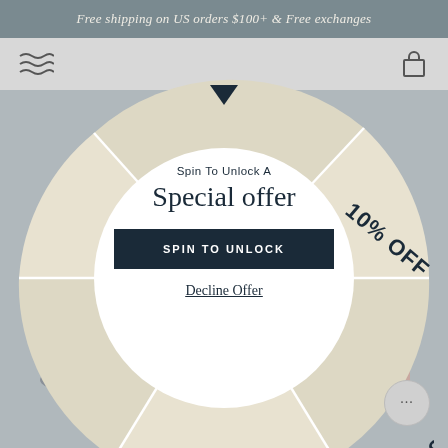Free shipping on US orders $100+ & Free exchanges
[Figure (infographic): Spin-to-win wheel with segments labeled 10% OFF, 15% OFF, 5% OFF on a cream/beige background. White circular center area with text and button.]
Spin To Unlock A
Special offer
SPIN TO UNLOCK
Decline Offer